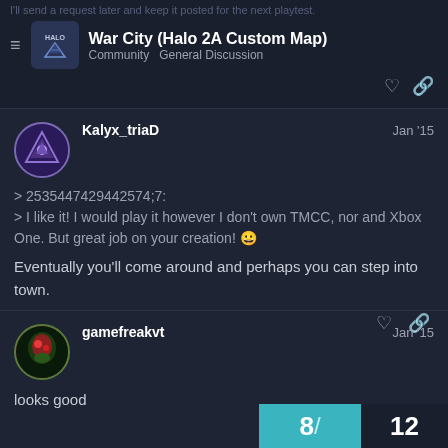War City (Halo 2A Custom Map) | Community General Discussion
Kalyx_triaD Jan '15
> 2535447429442574;7:
> I like it! I would play it however I don't own TMCC, nor and Xbox One. But great job on your creation! 😀

Eventually you'll come around and perhaps you can step into town.
gamefreakvt Jan '15
looks good
8/12